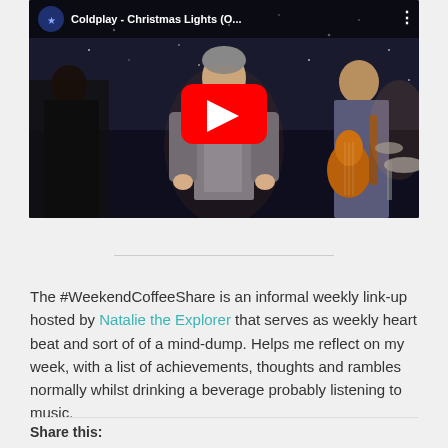[Figure (screenshot): YouTube video embed showing Coldplay - Christmas Lights (O... with a music video scene of performers on stage with a dark starry background and the YouTube play button overlay]
The #WeekendCoffeeShare is an informal weekly link-up hosted by Natalie the Explorer that serves as weekly heart beat and sort of of a mind-dump. Helps me reflect on my week, with a list of achievements, thoughts and rambles normally whilst drinking a beverage probably listening to music.
Share this: